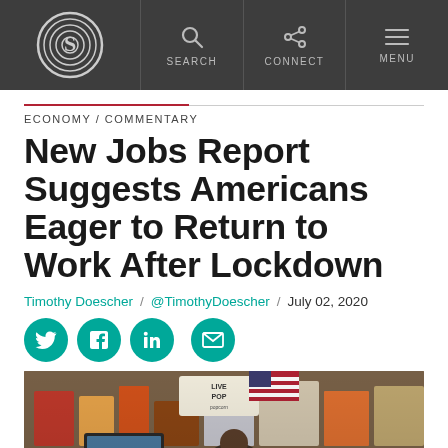S [logo] / SEARCH / CONNECT / MENU
ECONOMY / COMMENTARY
New Jobs Report Suggests Americans Eager to Return to Work After Lockdown
Timothy Doescher / @TimothyDoescher / July 02, 2020
[Figure (photo): Photo of a store interior with a person visible, signs and merchandise in background including popcorn signage and American flag.]